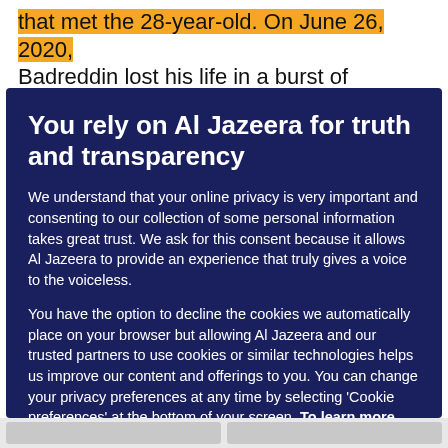that met the 28-year-old. On June 26, 2020, Badreddin lost his life in a burst of violence that
You rely on Al Jazeera for truth and transparency
We understand that your online privacy is very important and consenting to our collection of some personal information takes great trust. We ask for this consent because it allows Al Jazeera to provide an experience that truly gives a voice to the voiceless.
You have the option to decline the cookies we automatically place on your browser but allowing Al Jazeera and our trusted partners to use cookies or similar technologies helps us improve our content and offerings to you. You can change your privacy preferences at any time by selecting 'Cookie preferences' at the bottom of your screen. To learn more, please view our Cookie Policy.